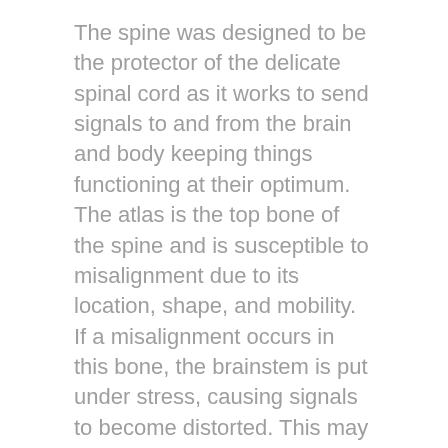The spine was designed to be the protector of the delicate spinal cord as it works to send signals to and from the brain and body keeping things functioning at their optimum.  The atlas is the top bone of the spine and is susceptible to misalignment due to its location, shape, and mobility. If a misalignment occurs in this bone, the brainstem is put under stress, causing signals to become distorted. This may be the root cause of tension headaches as muscles react to the misalignment by becoming tight.
Here at The Head and Spine Pain Center, we use a method called EPIC that is a precise and gentle technique relying on specific measurements and sound waves to help realign the atlas bone. It is completely safe and does not require us to pop or twist the neck. When the head is properly aligned over the body, patients report not only seeing their